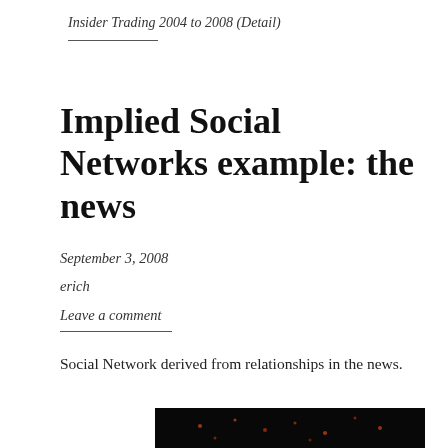Insider Trading 2004 to 2008 (Detail)
Implied Social Networks example: the news
September 3, 2008
erich
Leave a comment
Social Network derived from relationships in the news.
[Figure (photo): Dark background network graph image showing scattered orange/red dots representing nodes in a social network visualization]